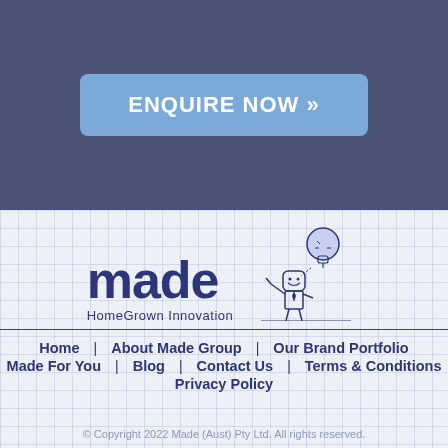ENQUIRE NOW »
[Figure (logo): Made HomeGrown Innovation logo with cartoon mascot holding a lightbulb]
Home
About Made Group
Our Brand Portfolio
Made For You
Blog
Contact Us
Terms & Conditions
Privacy Policy
© Copyright 2022 Made (Aust) Pty Ltd. All rights reserved.